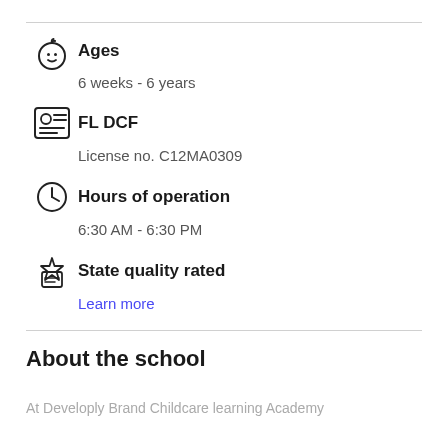Ages
6 weeks - 6 years
FL DCF
License no. C12MA0309
Hours of operation
6:30 AM - 6:30 PM
State quality rated
Learn more
About the school
At Developly Brand Childcare learning Academy...